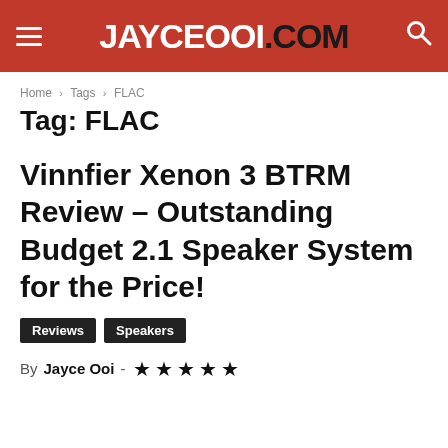JayceOoi.Com
Home › Tags › FLAC
Tag: FLAC
Vinnfier Xenon 3 BTRM Review – Outstanding Budget 2.1 Speaker System for the Price!
Reviews   Speakers
By Jayce Ooi - ★★★★★